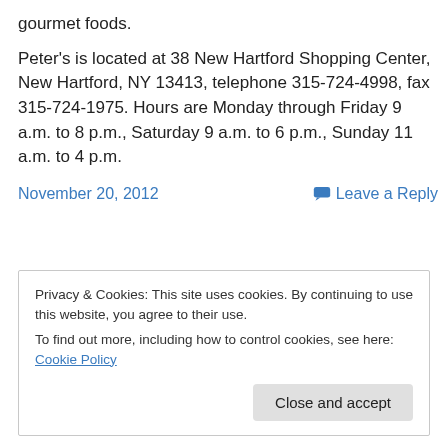gourmet foods.
Peter's is located at 38 New Hartford Shopping Center, New Hartford, NY 13413, telephone 315-724-4998, fax 315-724-1975. Hours are Monday through Friday 9 a.m. to 8 p.m., Saturday 9 a.m. to 6 p.m., Sunday 11 a.m. to 4 p.m.
November 20, 2012
Leave a Reply
Privacy & Cookies: This site uses cookies. By continuing to use this website, you agree to their use.
To find out more, including how to control cookies, see here: Cookie Policy
Close and accept